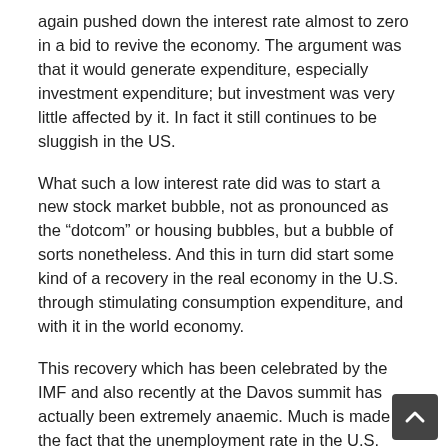again pushed down the interest rate almost to zero in a bid to revive the economy. The argument was that it would generate expenditure, especially investment expenditure; but investment was very little affected by it. In fact it still continues to be sluggish in the US.
What such a low interest rate did was to start a new stock market bubble, not as pronounced as the “dotcom” or housing bubbles, but a bubble of sorts nonetheless. And this in turn did start some kind of a recovery in the real economy in the U.S. through stimulating consumption expenditure, and with it in the world economy.
This recovery which has been celebrated by the IMF and also recently at the Davos summit has actually been extremely anaemic. Much is made of the fact that the unemployment rate in the U.S. has gone down to 4.1 per cent, and has remained there for four consecutive months including January 2018, which is below the level (5 per cent) of January 2008. What is missed in this is th